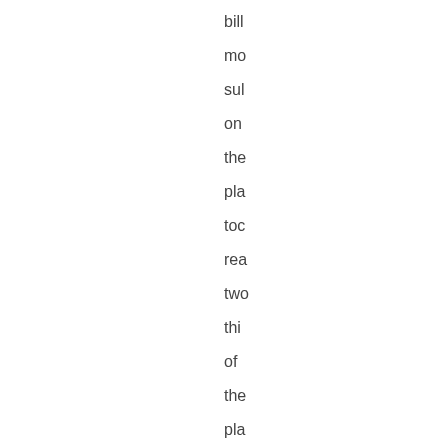bill mo sul on the pla toc rea two thi of the pla On one in six